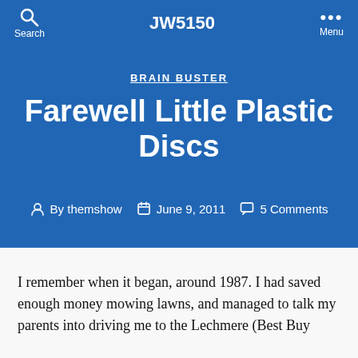JW5150
BRAIN BUSTER
Farewell Little Plastic Discs
By themshow   June 9, 2011   5 Comments
I remember when it began, around 1987. I had saved enough money mowing lawns, and managed to talk my parents into driving me to the Lechmere (Best Buy